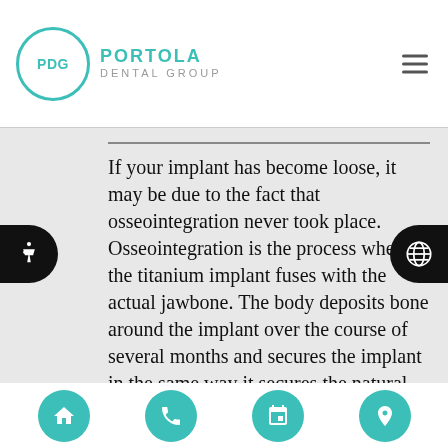Portola Dental Group
If your implant has become loose, it may be due to the fact that osseointegration never took place. Osseointegration is the process where the titanium implant fuses with the actual jawbone. The body deposits bone around the implant over the course of several months and secures the implant in the same way it secures the natural root of a tooth. If that process does not fully complete, your implant could become loose in the future. Additionally, the stability of your implant depends on your jawbone remaining dense and strong. If you develop
Home | Phone | Calendar | Location